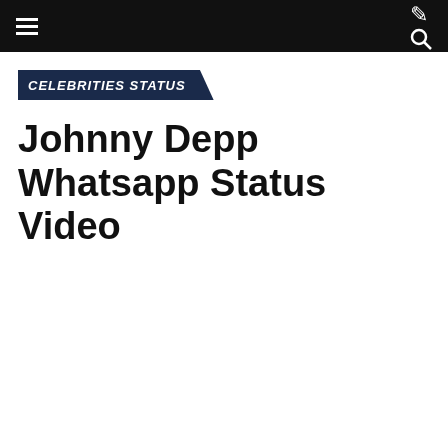CELEBRITIES STATUS
Johnny Depp Whatsapp Status Video